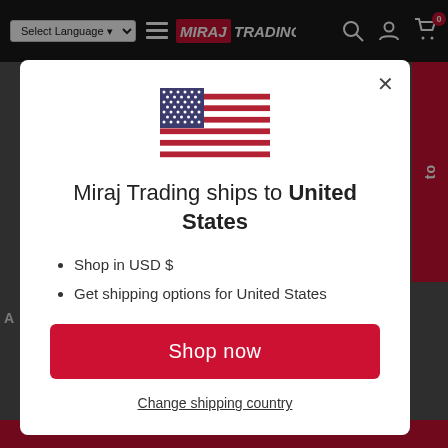Select Language ▾  [Miraj Trading logo]  [search] [account] [cart 0]
[Figure (screenshot): US flag SVG illustration shown centered in modal dialog]
Miraj Trading ships to United States
Shop in USD $
Get shipping options for United States
Shop now
Change shipping country